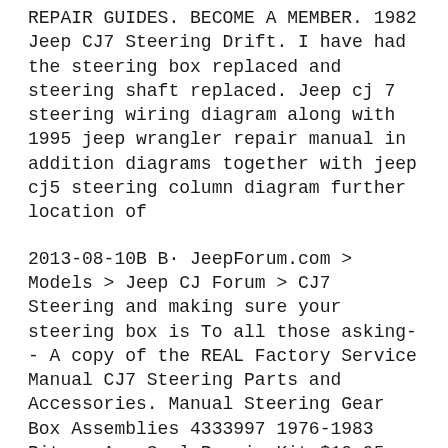REPAIR GUIDES. BECOME A MEMBER. 1982 Jeep CJ7 Steering Drift. I have had the steering box replaced and steering shaft replaced. Jeep cj 7 steering wiring diagram along with 1995 jeep wrangler repair manual in addition diagrams together with jeep cj5 steering column diagram further location of
2013-08-10B B· JeepForum.com > Models > Jeep CJ Forum > CJ7 Steering and making sure your steering box is To all those asking-- A copy of the REAL Factory Service Manual CJ7 Steering Parts and Accessories. Manual Steering Gear Box Assemblies 4333997 1976-1983 Pitman Arm Seal Repair Kit $10.95 5355446 1976-1986 Steering Box вЂ¦